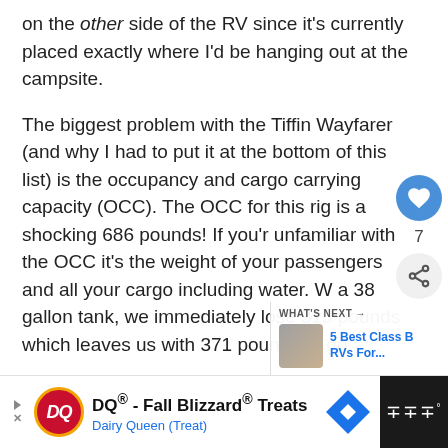on the other side of the RV since it's currently placed exactly where I'd be hanging out at the campsite.
The biggest problem with the Tiffin Wayfarer (and why I had to put it at the bottom of this list) is the occupancy and cargo carrying capacity (OCC). The OCC for this rig is a shocking 686 pounds! If you're unfamiliar with the OCC it's the weight of your passengers and all your cargo including water. With a 38 gallon tank, we immediately lose 315 pounds, which leaves us with 371 pounds to go.
[Figure (other): Advertisement bar at bottom: Dairy Queen DQ Fall Blizzard Treats ad with logo, navigation arrow icon, and dark right panel]